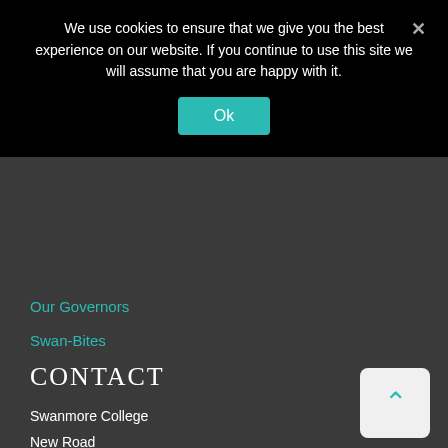We use cookies to ensure that we give you the best experience on our website. If you continue to use this site we will assume that you are happy with it.
Ok
Our Governors
Swan-Bites
CONTACT
Swanmore College
New Road
Swanmore
Hampshire
SO32 2RB